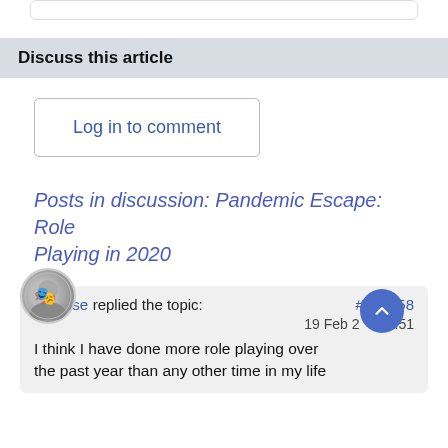Discuss this article
Log in to comment
Posts in discussion: Pandemic Escape: Role Playing in 2020
ubarose replied the topic: #219358
19 Feb 2... 5:51
I think I have done more role playing over the past year than any other time in my life